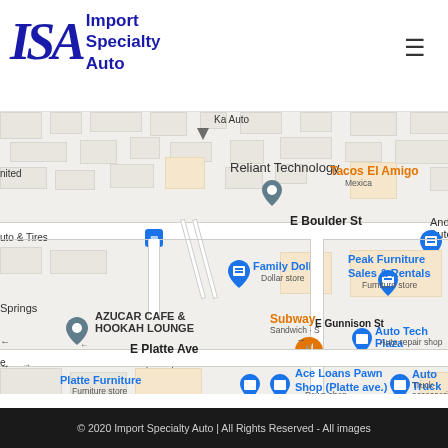[Figure (screenshot): Import Specialty Auto website header with logo showing 'ISA Import Specialty Auto' text in blue and a hamburger menu icon on the right]
[Figure (map): Google Maps screenshot showing streets including E Boulder St, E Platte Ave, E Gunnison St, with business locations including Reliant Technology, Ka Auto, Family Dollar, Andy's Auto, Peak Furniture Sales & Rentals, Azucar Cafe & Hookah Lounge, Subway, Auto Tech Plaza, Ace Loans Pawn Shop, Platte Furniture, Auto Truck Group, and Tacos El Amigo]
© 2020 Import Specialty Auto | All Rights Reserved - All images